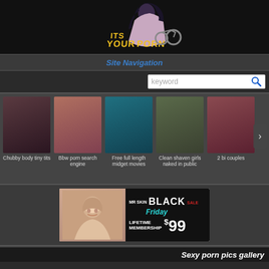[Figure (logo): ItsYourPorn website logo with anime-style character]
Site Navigation
[Figure (screenshot): Search bar with keyword placeholder and search icon]
[Figure (photo): Gallery strip with 5 thumbnail images and next arrow]
Chubby body tiny tits
Bbw porn search engine
Free full length midget movies
Clean shaven girls naked in public
2 bi couples
[Figure (photo): Mr Skin Black Friday Sale advertisement - Lifetime Membership $99]
Sexy porn pics gallery